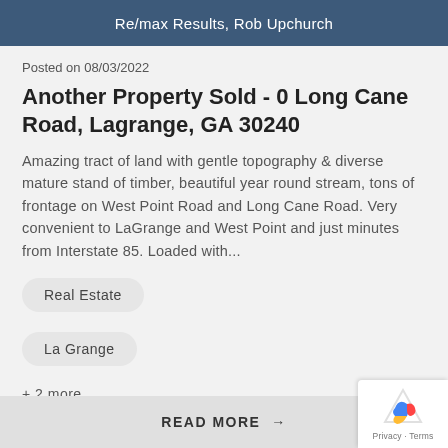Re/max Results, Rob Upchurch
Posted on 08/03/2022
Another Property Sold - 0 Long Cane Road, Lagrange, GA 30240
Amazing tract of land with gentle topography & diverse mature stand of timber, beautiful year round stream, tons of frontage on West Point Road and Long Cane Road. Very convenient to LaGrange and West Point and just minutes from Interstate 85. Loaded with...
Real Estate
La Grange
+ 2 more
READ MORE →